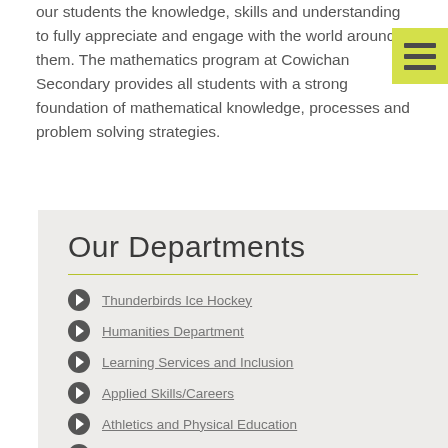our students the knowledge, skills and understanding to fully appreciate and engage with the world around them. The mathematics program at Cowichan Secondary provides all students with a strong foundation of mathematical knowledge, processes and problem solving strategies.
[Figure (other): Yellow/green hamburger menu icon with three horizontal bars]
Our Departments
Thunderbirds Ice Hockey
Humanities Department
Learning Services and Inclusion
Applied Skills/Careers
Athletics and Physical Education
Fine and Performing Arts
Mathematics and Sciences